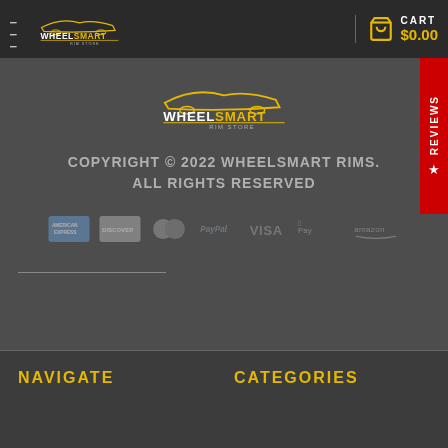WheelSmart Rim Store — CART $0.00
[Figure (logo): WheelSmart Rim Store logo, centered on dark grey background]
COPYRIGHT © 2022 WHEELSMART RIMS. ALL RIGHTS RESERVED
[Figure (infographic): Payment method logos: American Express, Discover, MasterCard, PayPal, VISA, Apple Pay, Amazon]
NAVIGATE
CATEGORIES